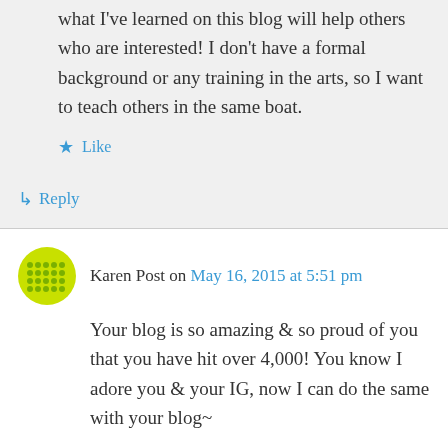what I've learned on this blog will help others who are interested! I don't have a formal background or any training in the arts, so I want to teach others in the same boat.
★ Like
↳ Reply
Karen Post on May 16, 2015 at 5:51 pm
Your blog is so amazing & so proud of you that you have hit over 4,000! You know I adore you & your IG, now I can do the same with your blog~
★ Like
↳ Reply